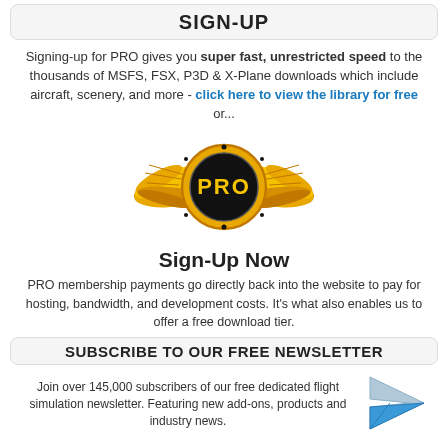SIGN-UP
Signing-up for PRO gives you super fast, unrestricted speed to the thousands of MSFS, FSX, P3D & X-Plane downloads which include aircraft, scenery, and more - click here to view the library for free or...
[Figure (logo): PRO membership gold wings badge with PRO text in center on black circle]
Sign-Up Now
PRO membership payments go directly back into the website to pay for hosting, bandwidth, and development costs. It’s what also enables us to offer a free download tier.
SUBSCRIBE TO OUR FREE NEWSLETTER
Join over 145,000 subscribers of our free dedicated flight simulation newsletter. Featuring new add-ons, products and industry news.
Your email address
Your email address  SUBSCRIBE